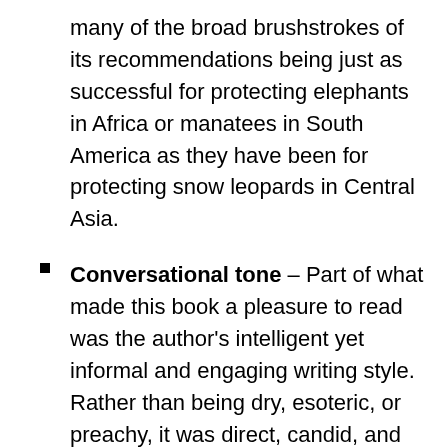many of the broad brushstrokes of its recommendations being just as successful for protecting elephants in Africa or manatees in South America as they have been for protecting snow leopards in Central Asia.
Conversational tone – Part of what made this book a pleasure to read was the author's intelligent yet informal and engaging writing style. Rather than being dry, esoteric, or preachy, it was direct, candid, and non-judgmental. Among other factors, the skillfully pitched tone was what kept me reading from cover to cover.
No purchase necessary – Considering how valuable this book is, I would have plonked down good money for it (or at least begged for a reviewer's copy!), but luckily for the conservation community, the Snow